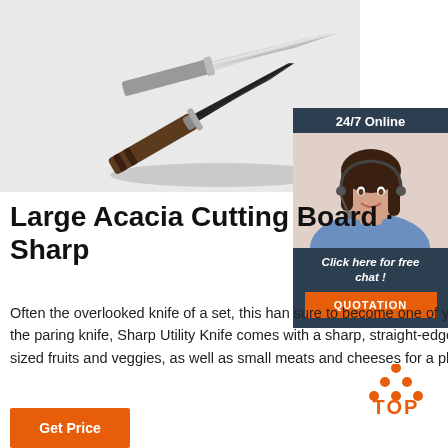[Figure (photo): Two folding pocket knives on a light gray background — one with a dark/black blade and brown handle, another with a silver blade]
[Figure (infographic): 24/7 Online chat widget with a female customer service representative wearing a headset, and a QUOTATION button]
Large Acacia Cutting Board · Sharp
Often the overlooked knife of a set, this hand sure to become one of your favorites. Smalle chef's knife, yet bigger than the paring knife, Sharp Utility Knife comes with a sharp, straight-edged blade designed to precisely slice through mid-sized fruits and veggies, as well as small meats and cheeses for a photo-worthy charcuterie board.
[Figure (logo): TOP badge with orange dot triangle pattern above the word TOP]
Get Price